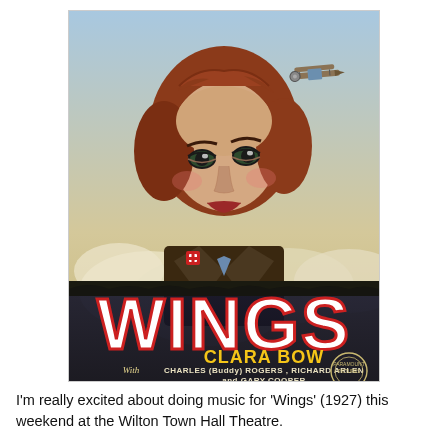[Figure (illustration): Vintage movie poster for 'Wings' (1927). Features a woman with short auburn hair looking upward, wearing a military uniform with a red cross badge. Background shows biplanes in a cloudy sky. Large bold white text reads 'WINGS'. Below that: 'CLARA BOW', 'With CHARLES (Buddy) ROGERS, RICHARD ARLEN and GARY COOPER'. Paramount Pictures logo at bottom right.]
I'm really excited about doing music for 'Wings' (1927) this weekend at the Wilton Town Hall Theatre.